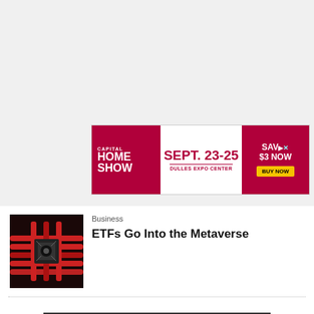[Figure (other): Capital Home Show advertisement banner: SEPT. 23-25, DULLES EXPO CENTER, SAVE $3 NOW, BUY NOW button]
Business
ETFs Go Into the Metaverse
Load More Stories